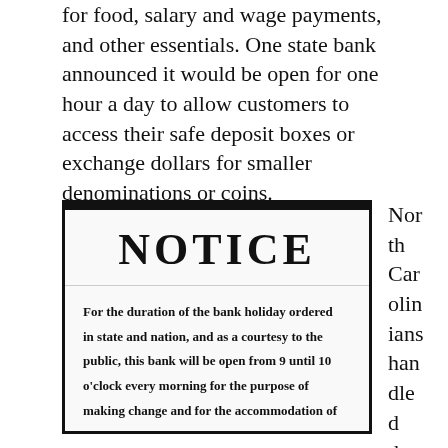for food, salary and wage payments, and other essentials. One state bank announced it would be open for one hour a day to allow customers to access their safe deposit boxes or exchange dollars for smaller denominations or coins.
[Figure (other): A newspaper notice in a bordered box with bold header 'NOTICE' and text: 'For the duration of the bank holiday ordered in state and nation, and as a courtesy to the public, this bank will be open from 9 until 10 o'clock every morning for the purpose of making change and for the accommodation of']
North Carolinians handled the sud